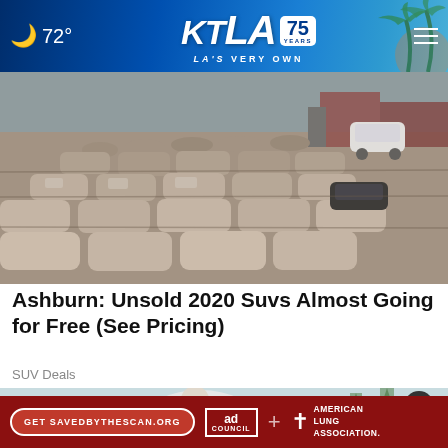72° KTLA 75 YEARS LA'S VERY OWN
[Figure (photo): Aerial view of a large parking lot filled with rows of dust-covered SUVs and cars]
Ashburn: Unsold 2020 Suvs Almost Going for Free (See Pricing)
SUV Deals
[Figure (photo): Person in white clothing bending over outdoors in snowy conditions]
[Figure (other): Advertisement banner: Get SAVEDBYTHESCAN.ORG - Ad Council - American Lung Association]